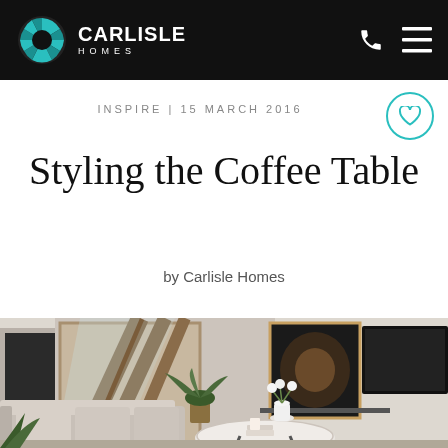CARLISLE HOMES
INSPIRE | 15 MARCH 2016
Styling the Coffee Table
by Carlisle Homes
[Figure (photo): Interior photo of a modern living room with a round marble coffee table styled with a white vase of flowers, books, and a candle. A glass staircase is visible in the background along with a grey sofa, framed artwork, and a wall-mounted TV.]